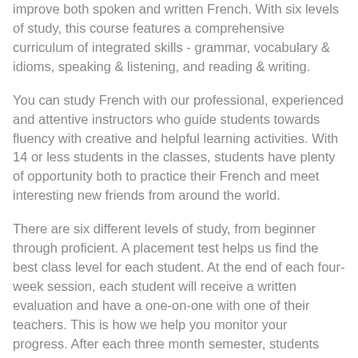improve both spoken and written French. With six levels of study, this course features a comprehensive curriculum of integrated skills - grammar, vocabulary & idioms, speaking & listening, and reading & writing.
You can study French with our professional, experienced and attentive instructors who guide students towards fluency with creative and helpful learning activities. With 14 or less students in the classes, students have plenty of opportunity both to practice their French and meet interesting new friends from around the world.
There are six different levels of study, from beginner through proficient. A placement test helps us find the best class level for each student. At the end of each four-week session, each student will receive a written evaluation and have a one-on-one with one of their teachers. This is how we help you monitor your progress. After each three month semester, students receive a report card, and students